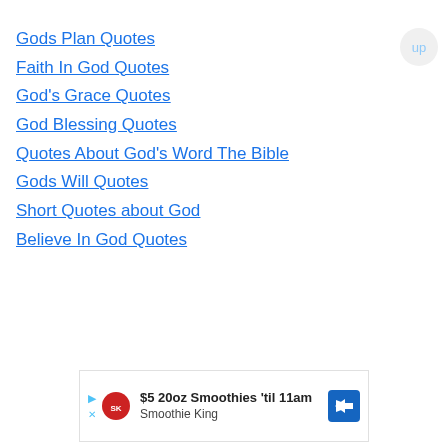Gods Plan Quotes
Faith In God Quotes
God's Grace Quotes
God Blessing Quotes
Quotes About God's Word The Bible
Gods Will Quotes
Short Quotes about God
Believe In God Quotes
[Figure (screenshot): Advertisement banner: $5 20oz Smoothies 'til 11am - Smoothie King, with play/close icons, logo, and directional arrow icon]